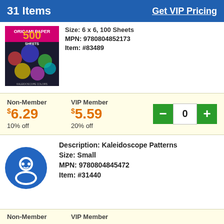31 Items    Get VIP Pricing
Size: 6 x 6, 100 Sheets
MPN: 9780804852173
Item: #83489
[Figure (photo): Origami Paper 500 Sheets book cover with colorful kaleidoscope patterns]
| Non-Member | VIP Member | Qty |
| --- | --- | --- |
| $6.29 | $5.59 | 0 |
| 10% off | 20% off |  |
Description: Kaleidoscope Patterns
Size: Small
MPN: 9780804845472
Item: #31440
[Figure (illustration): Blue circular chat/support icon with person silhouette]